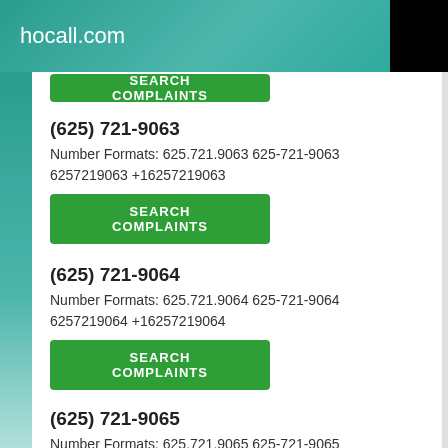hocall.com
SEARCH COMPLAINTS (button, partially visible at top)
(625) 721-9063
Number Formats: 625.721.9063 625-721-9063 6257219063 +16257219063
SEARCH COMPLAINTS
(625) 721-9064
Number Formats: 625.721.9064 625-721-9064 6257219064 +16257219064
SEARCH COMPLAINTS
(625) 721-9065
Number Formats: 625.721.9065 625-721-9065 6257219065 +16257219065
SEARCH COMPLAINTS (button, partially visible at bottom)